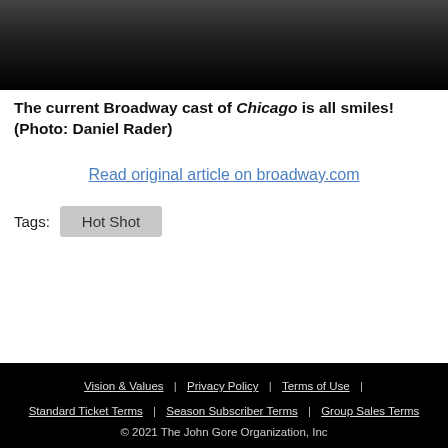[Figure (photo): Bottom portion of a Broadway cast photo showing performers in dark costumes on a dark background]
The current Broadway cast of Chicago is all smiles! (Photo: Daniel Rader)
Read original article on broadway.com
Tags: Hot Shot
Vision & Values | Privacy Policy | Terms of Use | Standard Ticket Terms | Season Subscriber Terms | Group Sales Terms © 2021 The John Gore Organization, Inc